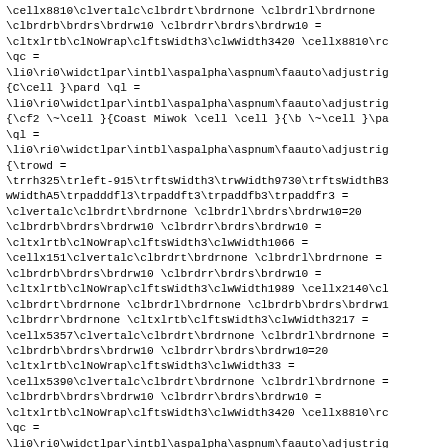\cellx8810\clvertalc\clbrdrt\brdrnone \clbrdrl\brdrnone
\clbrdrb\brdrs\brdrw10 \clbrdrr\brdrs\brdrw10 =
\cltxlrtb\clNoWrap\clftsWidth3\clwWidth3420 \cellx8810\rc
\qc =
\li0\ri0\widctlpar\intbl\aspalpha\aspnum\faauto\adjustrig
{C\cell }\pard \ql =
\li0\ri0\widctlpar\intbl\aspalpha\aspnum\faauto\adjustrig
{\cf2 \~\cell }{Coast Miwok \cell \cell }{\b \~\cell }\pa
\ql =
\li0\ri0\widctlpar\intbl\aspalpha\aspnum\faauto\adjustrig
{\trowd =
\trrh325\trleft-915\trftsWidth3\trwWidth9730\trftsWidthB3
wWidthA5\trpadddfl3\trpaddft3\trpaddfb3\trpaddfr3 =
\clvertalc\clbrdrt\brdrnone \clbrdrl\brdrs\brdrw10=20
\clbrdrb\brdrs\brdrw10 \clbrdrr\brdrs\brdrw10 =
\cltxlrtb\clNoWrap\clftsWidth3\clwWidth1066 =
\cellx151\clvertalc\clbrdrt\brdrnone \clbrdrl\brdrnone =
\clbrdrb\brdrs\brdrw10 \clbrdrr\brdrs\brdrw10 =
\cltxlrtb\clNoWrap\clftsWidth3\clwWidth1989 \cellx2140\cl
\clbrdrt\brdrnone \clbrdrl\brdrnone \clbrdrb\brdrs\brdrw1
\clbrdrr\brdrnone \cltxlrtb\clftsWidth3\clwWidth3217 =
\cellx5357\clvertalc\clbrdrt\brdrnone \clbrdrl\brdrnone =
\clbrdrb\brdrs\brdrw10 \clbrdrr\brdrs\brdrw10=20
\cltxlrtb\clNoWrap\clftsWidth3\clwWidth33 =
\cellx5390\clvertalc\clbrdrt\brdrnone \clbrdrl\brdrnone =
\clbrdrb\brdrs\brdrw10 \clbrdrr\brdrs\brdrw10 =
\cltxlrtb\clNoWrap\clftsWidth3\clwWidth3420 \cellx8810\rc
\qc =
\li0\ri0\widctlpar\intbl\aspalpha\aspnum\faauto\adjustrig
{C\cell }\pard \ql =
\li0\ri0\widctlpar\intbl\aspalpha\aspnum\faauto\adjustrig